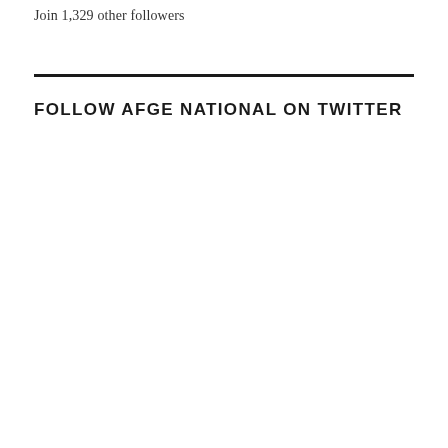Join 1,329 other followers
FOLLOW AFGE NATIONAL ON TWITTER